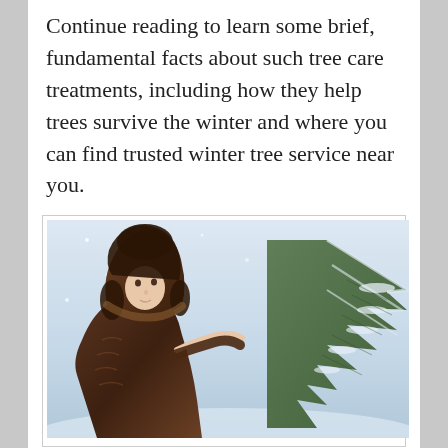Continue reading to learn some brief, fundamental facts about such tree care treatments, including how they help trees survive the winter and where you can find trusted winter tree service near you.
[Figure (photo): A young girl wearing a dark brown fur-hooded coat standing next to a snow-covered pine tree branch in a winter outdoor setting with snowflakes visible.]